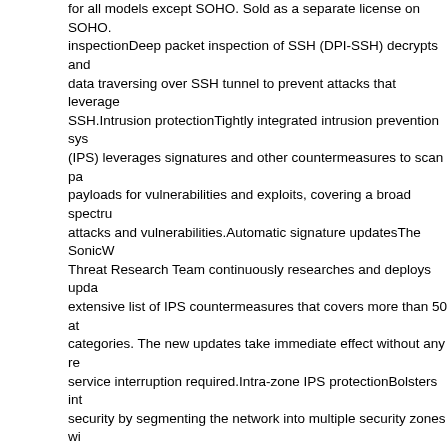for all models except SOHO. Sold as a separate license on SOHO. inspectionDeep packet inspection of SSH (DPI-SSH) decrypts and data traversing over SSH tunnel to prevent attacks that leverage SSH.Intrusion protectionTightly integrated intrusion prevention sys (IPS) leverages signatures and other countermeasures to scan pa payloads for vulnerabilities and exploits, covering a broad spectru attacks and vulnerabilities.Automatic signature updatesThe SonicW Threat Research Team continuously researches and deploys upda extensive list of IPS countermeasures that covers more than 50 at categories. The new updates take immediate effect without any re service interruption required.Intra-zone IPS protectionBolsters int security by segmenting the network into multiple security zones wi intrusion prevention, preventing threats from propagating across th boundaries.Botnet command and control (CnC) detection and blockingIdentifies and blocks command and control traffic originati bots on the local network to IPs and domains that are identified as propagating malware or are known CnC points.Protocol abuse/anomalyIdentifies and blocks attacks that abuse protocols in attempt to sneak past the IPS.Zero-day protectionProtects the netw against zero-day attacks with constant updates against the latest e methods and techniques that cover thousands of individual exploits evasion technologyExtensive stream normalization, decoding and techniques ensure that threats do not enter the network undetect